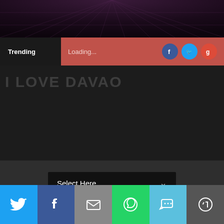[Figure (screenshot): Dark decorative header background with radial grid pattern in dark purple/black tones]
Trending   Loading...
[Figure (logo): I LOVE DAVAO logo text in faint white on dark background]
[Figure (screenshot): Select Here dropdown menu on dark background]
Home / Davao City / Featured / Restaurants / New Restaurant: STREET Grub
New Restaurant: STREET Grub
[Figure (infographic): Social share bar with Twitter, Facebook, Email, WhatsApp, SMS, and More buttons]